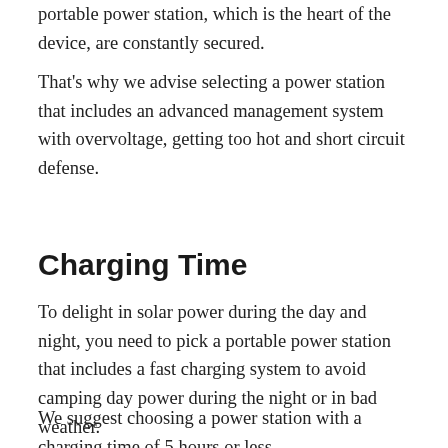portable power station, which is the heart of the device, are constantly secured.
That's why we advise selecting a power station that includes an advanced management system with overvoltage, getting too hot and short circuit defense.
Charging Time
To delight in solar power during the day and night, you need to pick a portable power station that includes a fast charging system to avoid camping day power during the night or in bad weather.
We suggest choosing a power station with a charging time of 5 hours or less.